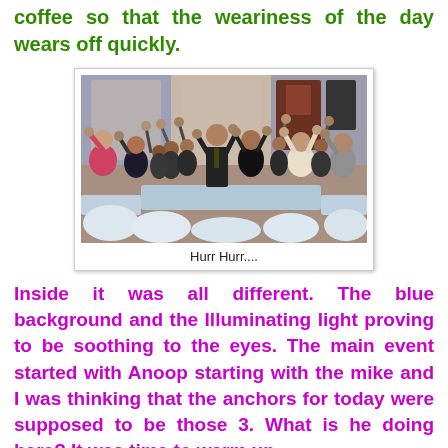coffee so that the weariness of the day wears off quickly.
[Figure (photo): A large crowd of people with arms raised in a cheering pose, indoors at an event with blue background lighting and chairs/tables visible.]
Hurr Hurr....
Inside it was all different. The blue background and the Illuminating light proving to be soothing to the eyes. The main event started with Anoop starting with the mike and I was thinking that the anchors for today were supposed to be those 3. What is he doing here? It was time to warm up